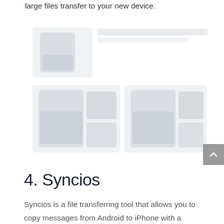large files transfer to your new device.
[Figure (screenshot): Screenshot of a file transfer or device management application showing smartphone interface panels arranged in a grid layout, with faded/light appearance]
4. Syncios
Syncios is a file transferring tool that allows you to copy messages from Android to iPhone with a faster